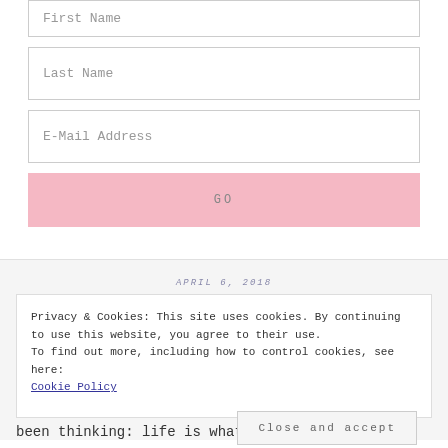First Name
Last Name
E-Mail Address
GO
APRIL 6, 2018
Privacy & Cookies: This site uses cookies. By continuing to use this website, you agree to their use.
To find out more, including how to control cookies, see here:
Cookie Policy
Close and accept
been thinking: life is what you make it. Not that I don't